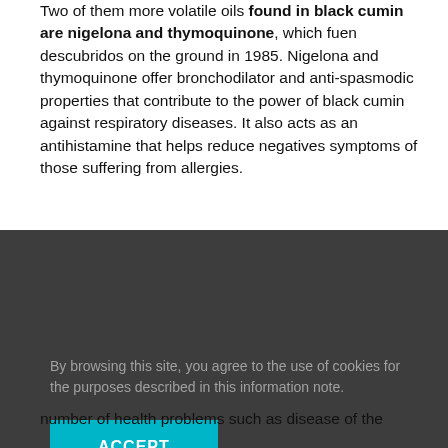Two of them more volatile oils found in black cumin are nigelona and thymoquinone, which fuen descubridos on the ground in 1985. Nigelona and thymoquinone offer bronchodilator and anti-spasmodic properties that contribute to the power of black cumin against respiratory diseases. It also acts as an antihistamine that helps reduce negatives symptoms of those suffering from allergies.
Thymoquinone has excellent anti-inflammatory and analgesic properties. It is also a powerful anti-oxidant and helps lipiar the body of toxins. The black cumin body also provides murisnalities with
[Figure (screenshot): Cookie consent overlay with dark grey background. Text reads: 'By browsing this site, you agree to the use of cookies for the purposes described in this information note.' Below is a cyan/teal 'ACCEPT' button.]
number of health problems such as disease of the